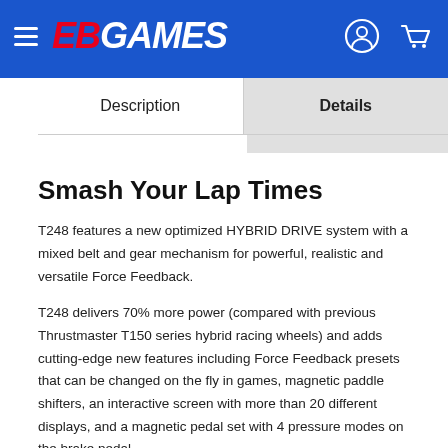EB GAMES
Description | Details
Smash Your Lap Times
T248 features a new optimized HYBRID DRIVE system with a mixed belt and gear mechanism for powerful, realistic and versatile Force Feedback.
T248 delivers 70% more power (compared with previous Thrustmaster T150 series hybrid racing wheels) and adds cutting-edge new features including Force Feedback presets that can be changed on the fly in games, magnetic paddle shifters, an interactive screen with more than 20 different displays, and a magnetic pedal set with 4 pressure modes on the brake pedal.